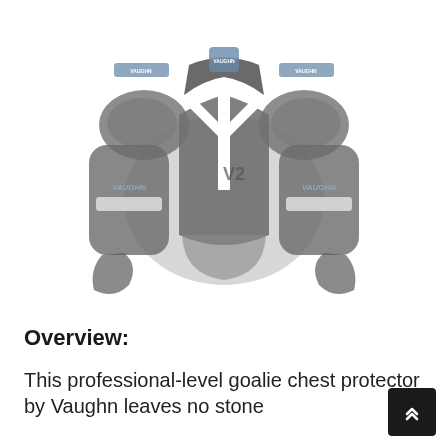[Figure (photo): Vaughn VS goalie chest protector in dark grey/black colorway with white accents and blue VAUGHN branding text on the arm pads. The chest protector is shown from the front with shoulder caps, arm protection, and chest/belly padding visible.]
Overview:
This professional-level goalie chest protector by Vaughn leaves no stone